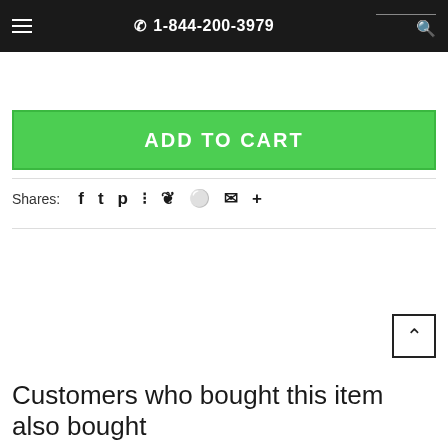1-844-200-3979
ADD TO CART
Shares:
Customers who bought this item also bought